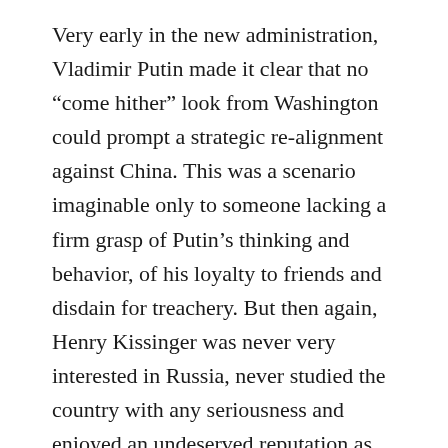Very early in the new administration, Vladimir Putin made it clear that no “come hither” look from Washington could prompt a strategic re-alignment against China. This was a scenario imaginable only to someone lacking a firm grasp of Putin’s thinking and behavior, of his loyalty to friends and disdain for treachery. But then again, Henry Kissinger was never very interested in Russia, never studied the country with any seriousness and enjoyed an undeserved reputation as expert in this domain.
Accordingly, with no benefits to realize by pursuing accommodation with Russia and a lot of political grief to pay domestically for doing so, Donald Trump changed his stripes on Russia in spring 2017 and went with the flow on sanctions and Obama’s history and